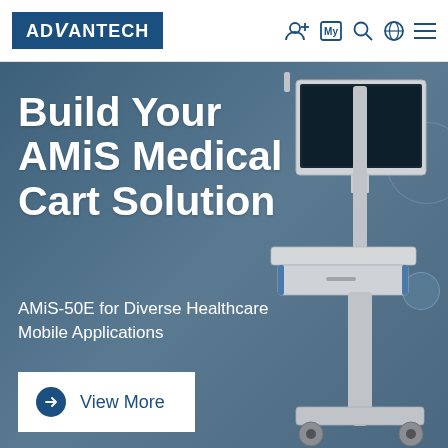[Figure (logo): Advantech logo — white text on dark blue background]
[Figure (illustration): Medical cart (AMiS-50E) with monitor on adjustable arm pole, keyboard tray and storage drawer on wheeled base. Blue-grey background with faint circular patterns.]
Build Your AMiS Medical Cart Solution
AMiS-50E for Diverse Healthcare Mobile Applications
View More